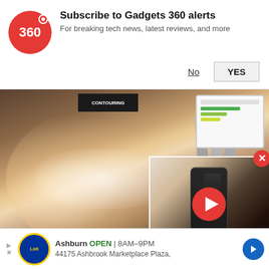Subscribe to Gadgets 360 alerts
For breaking tech news, latest reviews, and more
No | YES
[Figure (photo): Woman reclining in medical chair smiling, with laser liposuction device applied to her abdomen, in a clinical setting]
[Figure (screenshot): Video thumbnail overlay showing a dark smartphone with play button, positioned in the bottom-right area of the article image, with a red close (X) button]
Ashburn: Here's What Laser Liposuction Costs You In 2022 (Newest Price)
Ashburn OPEN 8AM-9PM
44175 Ashbrook Marketplace Plaza,